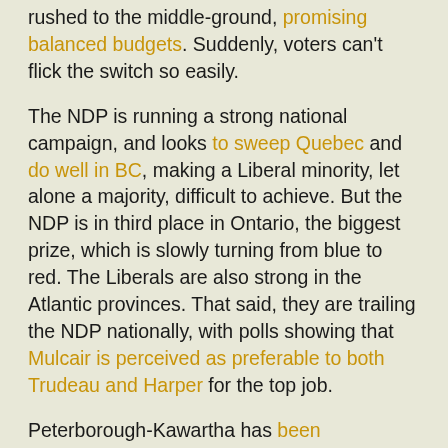rushed to the middle-ground, promising balanced budgets. Suddenly, voters can't flick the switch so easily.
The NDP is running a strong national campaign, and looks to sweep Quebec and do well in BC, making a Liberal minority, let alone a majority, difficult to achieve. But the NDP is in third place in Ontario, the biggest prize, which is slowly turning from blue to red. The Liberals are also strong in the Atlantic provinces. That said, they are trailing the NDP nationally, with polls showing that Mulcair is perceived as preferable to both Trudeau and Harper for the top job.
Peterborough-Kawartha has been redistricted, but it is still a bell-weather riding in which the federal government has a minimal role. We tend to vote with national trends, then go back to sleep. Our former MP, Dean Del Mastro, accomplished little other than costing the taxpayers a whack of dough for an expensive trial that ended with him getting thrown in jail for election fraud. His big push when he was first elected (if anyone cares to remember), was to return train service to Peterborough. The hope was that the "Flaherty Flier" would wind its way through Conservative ridings in the GTA and eventually arrive in Peterborough.